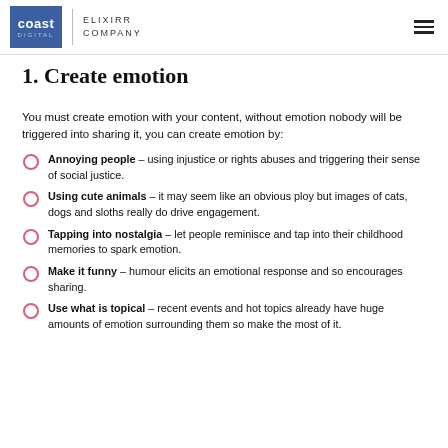coast DIGITAL | ELIXIRR COMPANY
1. Create emotion
You must create emotion with your content, without emotion nobody will be triggered into sharing it, you can create emotion by:
Annoying people – using injustice or rights abuses and triggering their sense of social justice.
Using cute animals – it may seem like an obvious ploy but images of cats, dogs and sloths really do drive engagement.
Tapping into nostalgia – let people reminisce and tap into their childhood memories to spark emotion.
Make it funny – humour elicits an emotional response and so encourages sharing.
Use what is topical – recent events and hot topics already have huge amounts of emotion surrounding them so make the most of it.